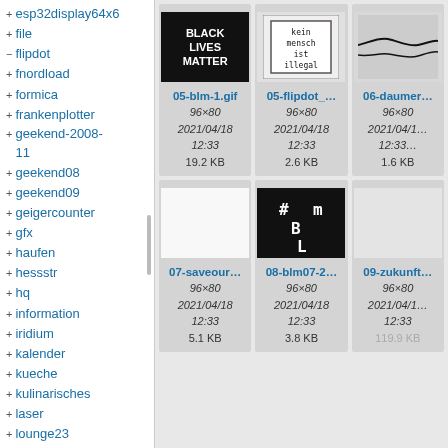+ esp32display64x6
+ file
- flipdot
+ fnordload
+ formica
+ frankenplotter
+ geekend-2008-11
+ geekend08
+ geekend09
+ geigercounter
+ gfx
+ haufen
+ hessstr
+ hq
+ information
+ iridium
+ kalender
+ kueche
+ kulinarisches
+ laser
+ lounge23
[Figure (screenshot): File browser grid view showing 6 image thumbnails: 05-blm-1.gif (BLACK LIVES MATTER on black background, 96x80, 2021/04/18 12:33, 19.2 KB), 05-flipdot_... (kein mensch ist illegal in pixel font, 96x80, 2021/04/18 12:33, 2.6 KB), 06-daumer... (waveform/curve on gray, 96x80, 2021/04/18 12:33, 1.6 KB), 07-saveour... (white blank, 96x80, 2021/04/18 12:33, 5.1 KB), 08-blm07-2... (#MBL on black, 96x80, 2021/04/18 12:33, 3.8 KB), 09-zukunft... (light gray blank, 96x80, 2021/04/18 12:33, 119.9 KB)]